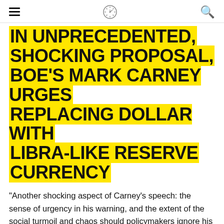≡ [logo] 🔍
IN UNPRECEDENTED, SHOCKING PROPOSAL, BOE'S MARK CARNEY URGES REPLACING DOLLAR WITH LIBRA-LIKE RESERVE CURRENCY
"Another shocking aspect of Carney's speech: the sense of urgency in his warning, and the extent of the social turmoil and chaos should policymakers ignore his warning. The BOE head went so far as to admit that very low equilibrium interest rates had in the past coincided with wars, financial crises and abrupt changes in the